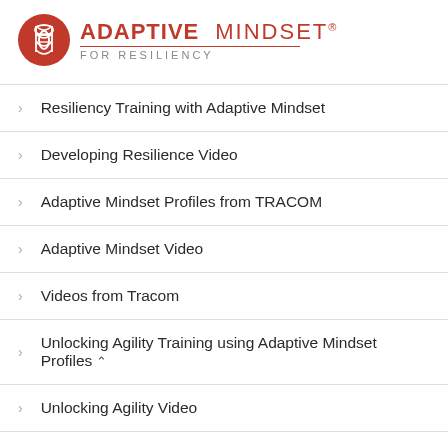[Figure (logo): Adaptive Mindset for Resiliency logo with DNA helix icon in red circle and brand text]
Resiliency Training with Adaptive Mindset
Developing Resilience Video
Adaptive Mindset Profiles from TRACOM
Adaptive Mindset Video
Videos from Tracom
Unlocking Agility Training using Adaptive Mindset Profiles
Unlocking Agility Video